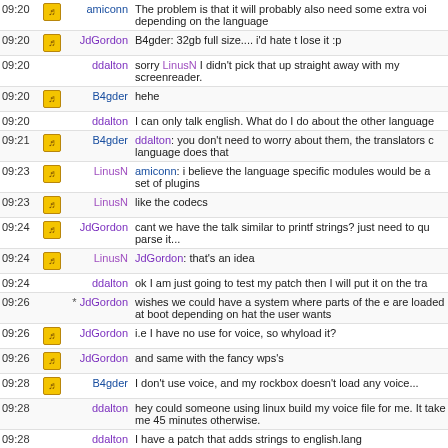| Time | Icon | Nick | Message |
| --- | --- | --- | --- |
| 09:20 | icon | amiconn | The problem is that it will probably also need some extra voi depending on the language |
| 09:20 | icon | JdGordon | B4gder: 32gb full size.... i'd hate t lose it :p |
| 09:20 |  | ddalton | sorry LinusN I didn't pick that up straight away with my screenreader. |
| 09:20 | icon | B4gder | hehe |
| 09:20 |  | ddalton | I can only talk english. What do I do about the other language |
| 09:21 | icon | B4gder | ddalton: you don't need to worry about them, the translators c language does that |
| 09:23 | icon | LinusN | amiconn: i believe the language specific modules would be a set of plugins |
| 09:23 | icon | LinusN | like the codecs |
| 09:24 | icon | JdGordon | cant we have the talk similar to printf strings? just need to qu parse it... |
| 09:24 | icon | LinusN | JdGordon: that's an idea |
| 09:24 |  | ddalton | ok I am just going to test my patch then I will put it on the tra |
| 09:26 |  | * JdGordon | wishes we could have a system where parts of the e are loaded at boot depending on hat the user wants |
| 09:26 | icon | JdGordon | i.e I have no use for voice, so whyload it? |
| 09:26 | icon | JdGordon | and same with the fancy wps's |
| 09:28 | icon | B4gder | I don't use voice, and my rockbox doesn't load any voice... |
| 09:28 |  | ddalton | hey could someone using linux build my voice file for me. It take me 45 minutes otherwise. |
| 09:28 |  | ddalton | I have a patch that adds strings to english.lang |
| 09:28 | icon | LinusN | JdGordon: there are such systems around, one of them is... |